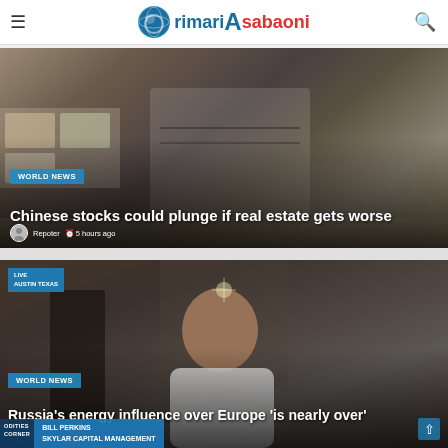rimari Asabaoni
[Figure (photo): Shopping cart with Bed Bath & Beyond bag in a store]
WORLD NEWS
Chinese stocks could plunge if real estate gets worse
Repoter  5 hours ago
[Figure (photo): Bald man in white shirt at LIVE AUSTIN TEXAS broadcast, Bill Perkins, Skylar Capital Management]
WORLD NEWS
Russia's energy influence over Europe 'is nearly over'